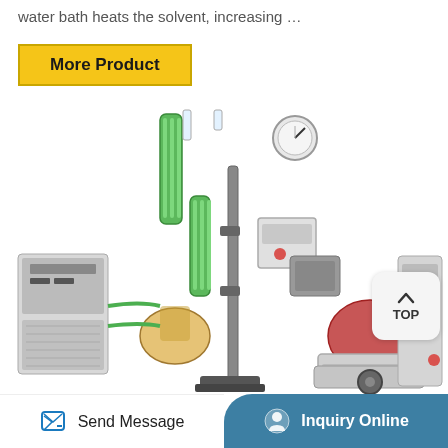water bath heats the solvent, increasing …
More Product
[Figure (photo): Laboratory rotary evaporator setup with green condensers, glass flasks containing orange and red liquids, a water bath, pressure gauge, control unit, chiller unit on left, and heating bath on right.]
TOP
Send Message
Inquiry Online